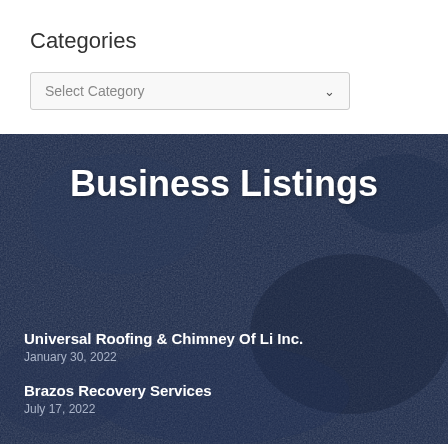Categories
Select Category
Business Listings
Universal Roofing & Chimney Of Li Inc.
January 30, 2022
Brazos Recovery Services
July 17, 2022